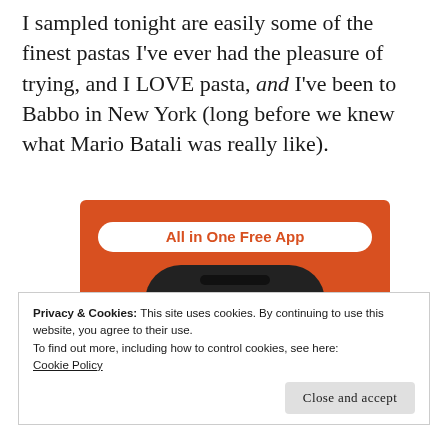I sampled tonight are easily some of the finest pastas I've ever had the pleasure of trying, and I LOVE pasta, and I've been to Babbo in New York (long before we knew what Mario Batali was really like).
[Figure (screenshot): DuckDuckGo 'All in One Free App' advertisement showing a smartphone with the DuckDuckGo duck logo on an orange background]
Privacy & Cookies: This site uses cookies. By continuing to use this website, you agree to their use.
To find out more, including how to control cookies, see here:
Cookie Policy
Close and accept